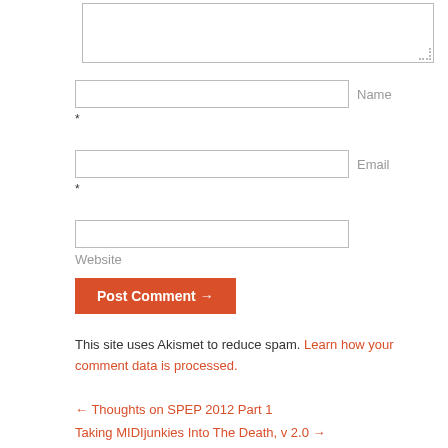[Figure (screenshot): Textarea input field for comment]
Name *
Email *
Website
Post Comment →
This site uses Akismet to reduce spam. Learn how your comment data is processed.
← Thoughts on SPEP 2012 Part 1
Taking MIDIjunkies Into The Death, v 2.0 →